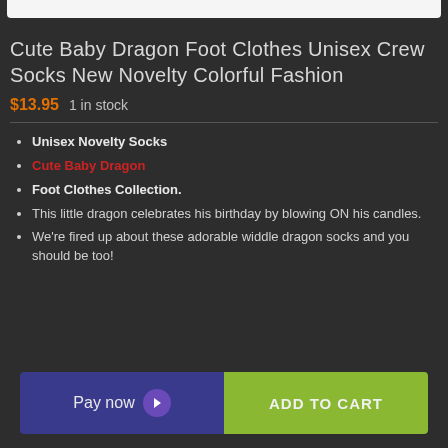Cute Baby Dragon Foot Clothes Unisex Crew Socks New Novelty Colorful Fashion
$13.95  1 in stock
Unisex Novelty Socks
Cute Baby Dragon
Foot Clothes Collection.
This little dragon celebrates his birthday by blowing ON his candles.
We're fired up about these adorable widdle dragon socks and you should be too!
Pay now  ADD TO CART